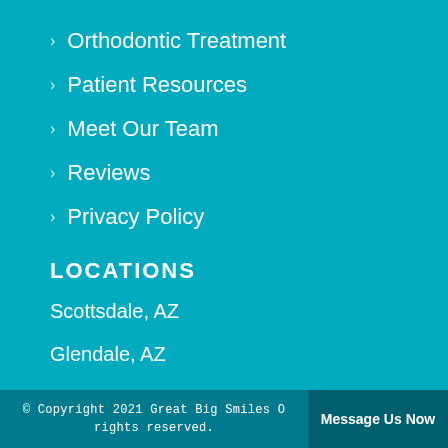> Orthodontic Treatment
> Patient Resources
> Meet Our Team
> Reviews
> Privacy Policy
LOCATIONS
Scottsdale, AZ
Glendale, AZ
© Copyright 2021 Great Big Smiles O... rights reserved.   Message Us Now